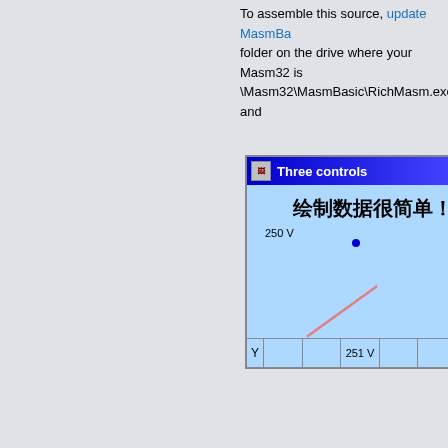To assemble this source, update MasmBa... folder on the drive where your Masm32 is... \Masm32\MasmBasic\RichMasm.exe and...
[Figure (screenshot): A Windows application screenshot showing a window titled 'Three controls' with a blue title bar, a chart area with Chinese text '绘制数据很简单！', a data point at 250 V, a diagonal line plotted, and a table row at the bottom showing 'Y' and '251 V'.]